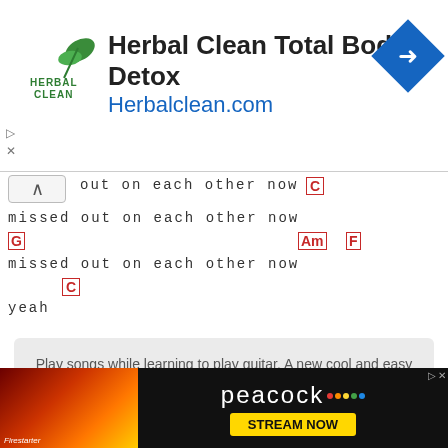[Figure (screenshot): Advertisement banner for Herbal Clean Total Body Detox with Herbalclean.com URL, green logo, and blue diamond navigation icon]
out on each other now
C
missed out on each other now
G      Am  F
missed out on each other now
C
yeah
Play songs while learning to play guitar. A new cool and easy song every week.
[Figure (screenshot): Peacock streaming service advertisement with Firestarter movie image and Stream Now button]